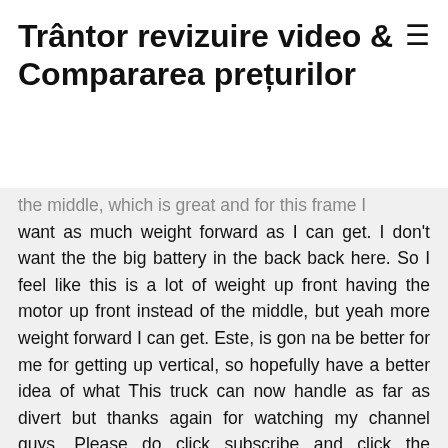Trântor revizuire video & Compararea prețurilor
the middle, which is great and for this frame I want as much weight forward as I can get. I don't want the the big battery in the back back here. So I feel like this is a lot of weight up front having the motor up front instead of the middle, but yeah more weight forward I can get. Este, is gon na be better for me for getting up vertical, so hopefully have a better idea of what This truck can now handle as far as divert but thanks again for watching my channel guys. Please do click subscribe and click the notification button for new videos coming out on new crawlers quads everything's on my channel I'm Justin Davis I'll see you on the next one.